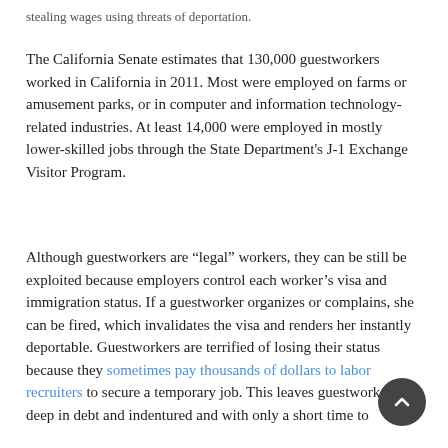stealing wages using threats of deportation.
The California Senate estimates that 130,000 guestworkers worked in California in 2011. Most were employed on farms or amusement parks, or in computer and information technology-related industries. At least 14,000 were employed in mostly lower-skilled jobs through the State Department's J-1 Exchange Visitor Program.
Although guestworkers are “legal” workers, they can be still be exploited because employers control each worker’s visa and immigration status. If a guestworker organizes or complains, she can be fired, which invalidates the visa and renders her instantly deportable. Guestworkers are terrified of losing their status because they sometimes pay thousands of dollars to labor recruiters to secure a temporary job. This leaves guestworkers deep in debt and indentured and with only a short time to repay their investment. Sometimes they